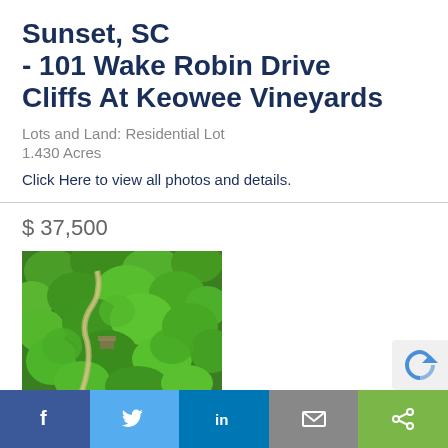Sunset, SC - 101 Wake Robin Drive Cliffs At Keowee Vineyards
Lots and Land: Residential Lot
1.430 Acres
Click Here to view all photos and details.
$ 37,500
[Figure (photo): Aerial view of wooded lot with winding road through dense green trees]
MLS# 20252262
[Figure (other): Social sharing bar with Facebook, Twitter, LinkedIn, Email, and Share buttons]